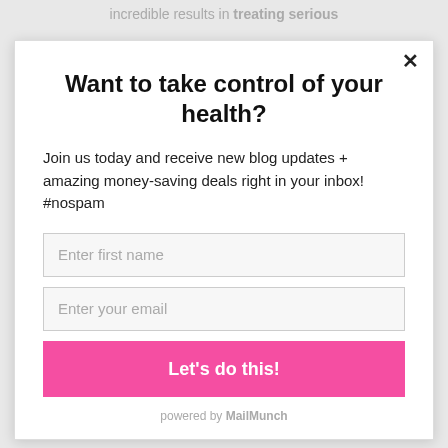incredible results in treating serious
Want to take control of your health?
Join us today and receive new blog updates + amazing money-saving deals right in your inbox! #nospam
Enter first name
Enter your email
Let's do this!
powered by MailMunch